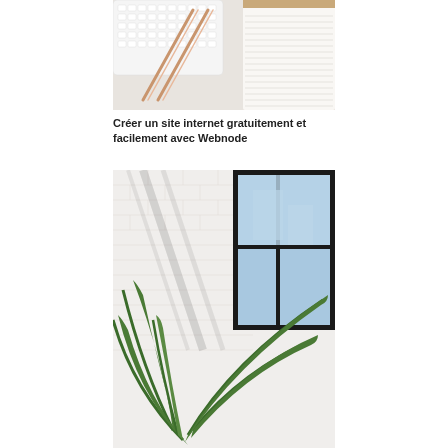[Figure (photo): Top-down photo of a white Apple keyboard with rose gold pens and a lined notepad on a light gray/white desk surface.]
Créer un site internet gratuitement et facilement avec Webnode
[Figure (photo): Indoor photo of large palm plant leaves with shadows cast on a white brick wall, with a large black-framed window in the background showing blue sky and a building.]